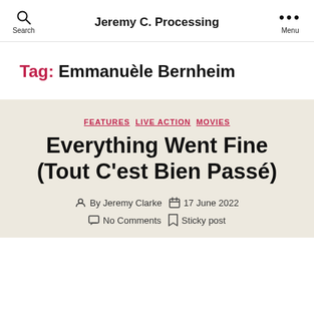Jeremy C. Processing
Tag: Emmanuèle Bernheim
FEATURES  LIVE ACTION  MOVIES
Everything Went Fine (Tout C'est Bien Passé)
By Jeremy Clarke  17 June 2022  No Comments  Sticky post